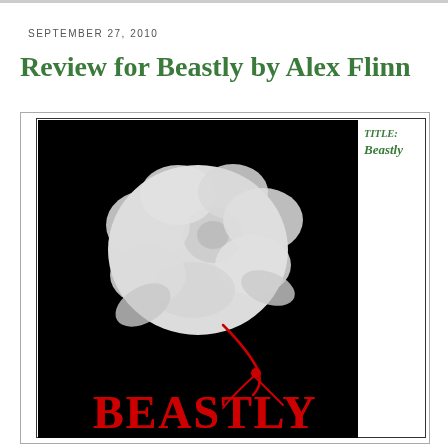SEPTEMBER 27, 2010
Review for Beastly by Alex Flinn
[Figure (illustration): Book cover of 'Beastly' by Alex Flinn — black background with a white rose and red stem, with the title 'BEASTLY' in large red gothic letters at the bottom. A sidebar shows TITLE: Beastly in green italic text.]